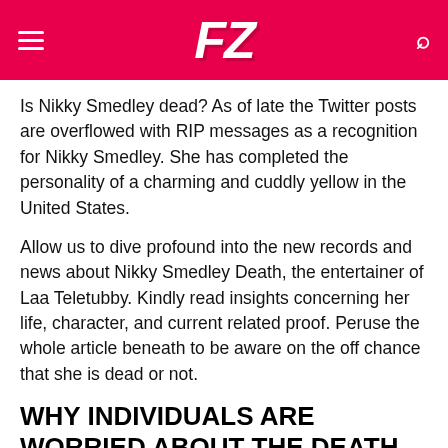FZ (logo)
Is Nikky Smedley dead? As of late the Twitter posts are overflowed with RIP messages as a recognition for Nikky Smedley. She has completed the personality of a charming and cuddly yellow in the United States.
Allow us to dive profound into the new records and news about Nikky Smedley Death, the entertainer of Laa Teletubby. Kindly read insights concerning her life, character, and current related proof. Peruse the whole article beneath to be aware on the off chance that she is dead or not.
WHY INDIVIDUALS ARE WORRIED ABOUT THE DEATH OF NIKKY SMEDLEY
As of late the...